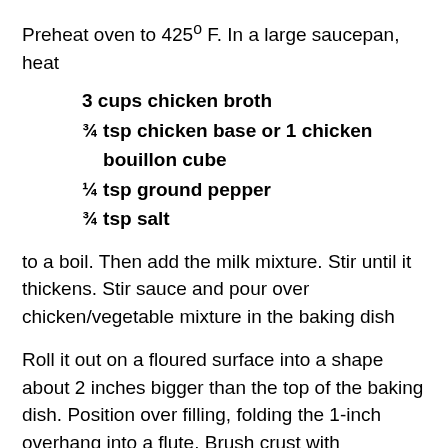Preheat oven to 425° F. In a large saucepan, heat
3 cups chicken broth
¾ tsp chicken base or 1 chicken bouillon cube
¼ tsp ground pepper
¾ tsp salt
to a boil. Then add the milk mixture. Stir until it thickens. Stir sauce and pour over chicken/vegetable mixture in the baking dish
Roll it out on a floured surface into a shape about 2 inches bigger than the top of the baking dish. Position over filling, folding the 1-inch overhang into a flute. Brush crust with